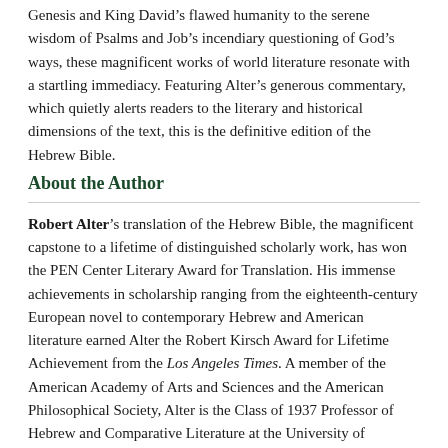Genesis and King David's flawed humanity to the serene wisdom of Psalms and Job's incendiary questioning of God's ways, these magnificent works of world literature resonate with a startling immediacy. Featuring Alter's generous commentary, which quietly alerts readers to the literary and historical dimensions of the text, this is the definitive edition of the Hebrew Bible.
About the Author
Robert Alter's translation of the Hebrew Bible, the magnificent capstone to a lifetime of distinguished scholarly work, has won the PEN Center Literary Award for Translation. His immense achievements in scholarship ranging from the eighteenth-century European novel to contemporary Hebrew and American literature earned Alter the Robert Kirsch Award for Lifetime Achievement from the Los Angeles Times. A member of the American Academy of Arts and Sciences and the American Philosophical Society, Alter is the Class of 1937 Professor of Hebrew and Comparative Literature at the University of California, Berkeley.
Praise For...